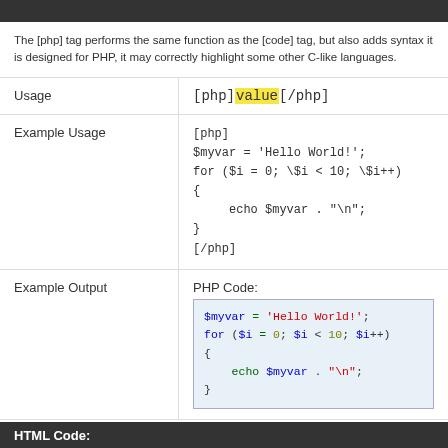The [php] tag performs the same function as the [code] tag, but also adds syntax it is designed for PHP, it may correctly highlight some other C-like languages.
|  |  |
| --- | --- |
| Usage | [php]value[/php] |
| Example Usage | [php]
$myvar = 'Hello World!';
for ($i = 0; \$i < 10; \$i++)
{
    echo $myvar . "\n";
}
[/php] |
| Example Output | PHP Code:
$myvar = 'Hello World!';
for ($i = 0; $i < 10; $i++)
{
    echo $myvar . "\n";
} |
HTML Code: